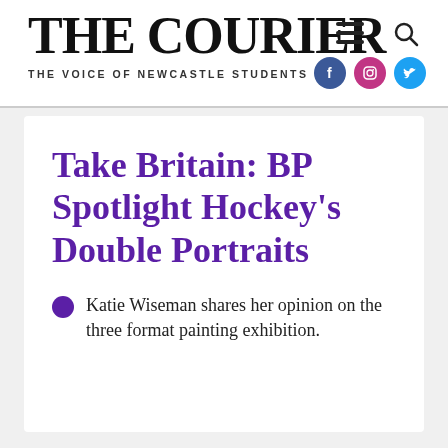THE COURIER — THE VOICE OF NEWCASTLE STUDENTS
Take Britain: BP Spotlight Hockey's Double Portraits
Katie Wiseman shares her opinion on the three format painting exhibition.